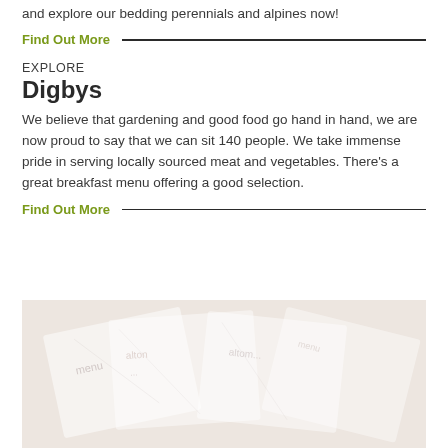and explore our bedding perennials and alpines now!
Find Out More
EXPLORE
Digbys
We believe that gardening and good food go hand in hand, we are now proud to say that we can sit 140 people. We take immense pride in serving locally sourced meat and vegetables. There's a great breakfast menu offering a good selection.
Find Out More
[Figure (photo): A faded/watermarked image showing overlapping menus or printed cards with text including 'altom...' visible, on a light beige background]